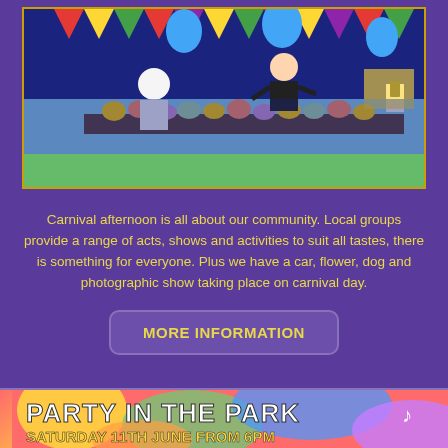[Figure (photo): Outdoor carnival stall with colorful bunting flags and blue balloons, a woman in black standing behind a table covered in stuffed animal toys, another person facing away in white, decorative fair/carnival setting]
Carnival afternoon is all about our community. Local groups provide a range of acts, shows and activities to suit all tastes, there is something for everyone. Plus we have a car, flower, dog and photographic show taking place on carnival day.
MORE INFORMATION
[Figure (illustration): Colorful Party in the Park banner with bright multicolored background (red, yellow, green, blue, purple), bold white text reading 'PARTY IN THE PARK' and yellow text 'SATURDAY 11TH JUNE FROM 6PM']